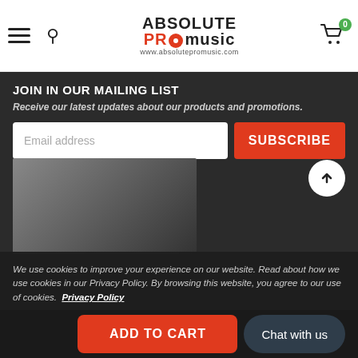[Figure (logo): Absolute Pro Music logo with red disc icon and website URL www.absolutepromusic.com]
JOIN IN OUR MAILING LIST
Receive our latest updates about our products and promotions.
Email address (input field) and SUBSCRIBE button
[Figure (photo): Partially visible product image on dark background]
We use cookies to improve your experience on our website. Read about how we use cookies in our Privacy Policy. By browsing this website, you agree to our use of cookies. Privacy Policy
ACCEPT button
ADD TO CART and Chat with us buttons